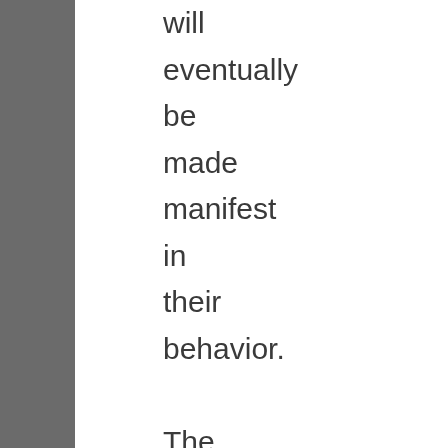will eventually be made manifest in their behavior. The chief example I want to deal with in this article though is a matter of manners.